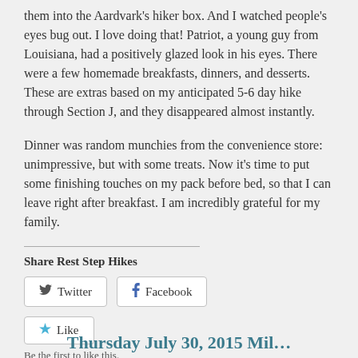them into the Aardvark’s hiker box. And I watched people’s eyes bug out. I love doing that! Patriot, a young guy from Louisiana, had a positively glazed look in his eyes. There were a few homemade breakfasts, dinners, and desserts. These are extras based on my anticipated 5-6 day hike through Section J, and they disappeared almost instantly.
Dinner was random munchies from the convenience store: unimpressive, but with some treats. Now it’s time to put some finishing touches on my pack before bed, so that I can leave right after breakfast. I am incredibly grateful for my family.
Share Rest Step Hikes
Twitter  Facebook
Like
Be the first to like this.
Thursday July 30, 2015 Mil…